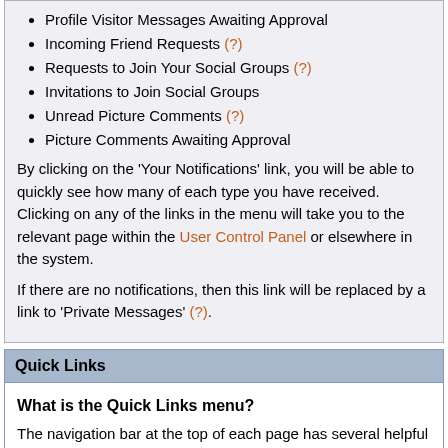Profile Visitor Messages Awaiting Approval
Incoming Friend Requests (?)
Requests to Join Your Social Groups (?)
Invitations to Join Social Groups
Unread Picture Comments (?)
Picture Comments Awaiting Approval
By clicking on the 'Your Notifications' link, you will be able to quickly see how many of each type you have received. Clicking on any of the links in the menu will take you to the relevant page within the User Control Panel or elsewhere in the system.
If there are no notifications, then this link will be replaced by a link to 'Private Messages' (?).
Quick Links
What is the Quick Links menu?
The navigation bar at the top of each page has several helpful links. One of them is a dropdown menu called Quick Links. (It appears only to registered members who are logged in). Clicking it once with the mouse will make it drop down and show the following options:
Quick Links
Today's Posts (shows posts created in the past 24 hours)
Mark Forums Read (marks all the threads and posts as...